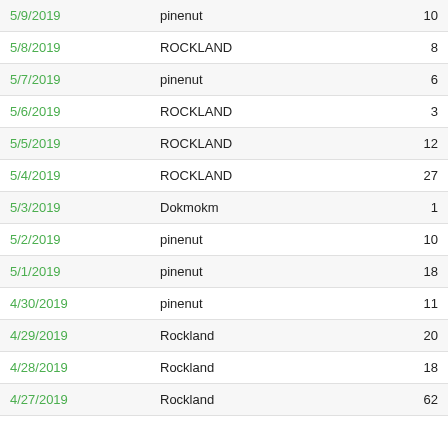| Date | Name | Count |
| --- | --- | --- |
| 5/9/2019 | pinenut | 10 |
| 5/8/2019 | ROCKLAND | 8 |
| 5/7/2019 | pinenut | 6 |
| 5/6/2019 | ROCKLAND | 3 |
| 5/5/2019 | ROCKLAND | 12 |
| 5/4/2019 | ROCKLAND | 27 |
| 5/3/2019 | Dokmokm | 1 |
| 5/2/2019 | pinenut | 10 |
| 5/1/2019 | pinenut | 18 |
| 4/30/2019 | pinenut | 11 |
| 4/29/2019 | Rockland | 20 |
| 4/28/2019 | Rockland | 18 |
| 4/27/2019 | Rockland | 62 |